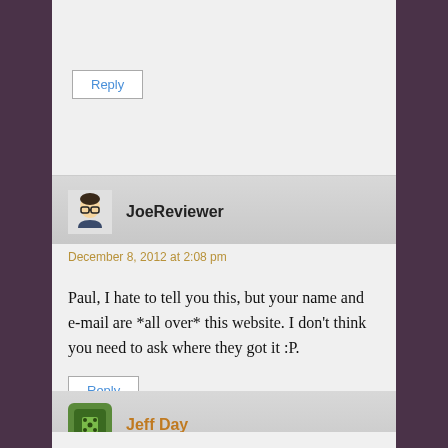Reply
JoeReviewer
December 8, 2012 at 2:08 pm
Paul, I hate to tell you this, but your name and e-mail are *all over* this website. I don't think you need to ask where they got it :P.
Reply
Jeff Day
December 9, 2012 at 4:45 pm
I'm looking forward to attending the Team Building